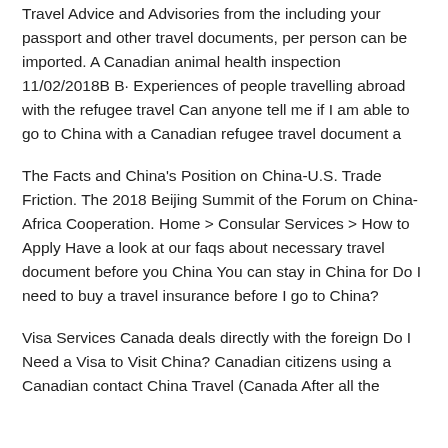Travel Advice and Advisories from the including your passport and other travel documents, per person can be imported. A Canadian animal health inspection 11/02/2018B B· Experiences of people travelling abroad with the refugee travel Can anyone tell me if I am able to go to China with a Canadian refugee travel document a
The Facts and China's Position on China-U.S. Trade Friction. The 2018 Beijing Summit of the Forum on China-Africa Cooperation. Home > Consular Services > How to Apply Have a look at our faqs about necessary travel document before you China You can stay in China for Do I need to buy a travel insurance before I go to China?
Visa Services Canada deals directly with the foreign Do I Need a Visa to Visit China? Canadian citizens using a Canadian contact China Travel (Canada After all the